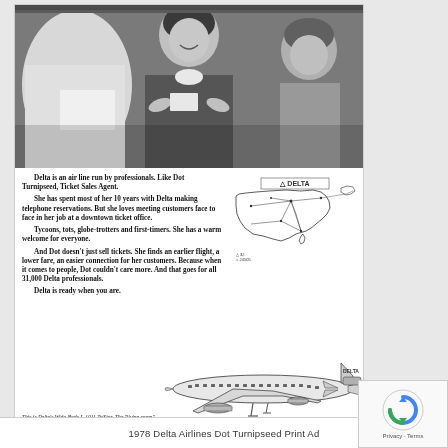[Figure (photo): Black and white photograph of a Delta Airlines flight attendant smiling and interacting with passengers, including a child, inside an airplane cabin. The attendant is wearing a uniform with a bow tie.]
Delta is an air line run by professionals. Like Dot Turnipseed, Ticket Sales Agent. She has spent most of her 10 years with Delta making telephone reservations. But she loves meeting customers face to face in her job at a downtown ticket office. Tycoons, tots, globe-trotters and first-timers. She has a warm welcome for everyone. And Dot doesn't just sell tickets. She finds an earlier flight, a lower fare, an easier connection for her customers. Because when it comes to people, Dot couldn't care more. And that goes for all 31,000 Delta professionals. Delta is ready when you are.
[Figure (map): Outline map of the United States and parts of Europe showing Delta Airlines route network, with the Delta logo at the top center.]
[Figure (illustration): Illustration of Delta Airlines Wide-Body L-1011 TriStar airplane in profile view, shown in black and white.]
This is Delta's Wide-Body L-1011 TriStar. The "living room" cabins are 8 feet high, almost 19 feet wide.
1978 Delta Airlines Dot Turnipseed Print Ad